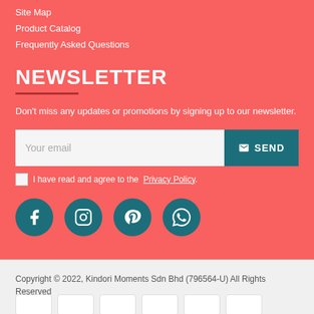Site Map
Product Catalog
Frequently Asked Questions
NEWSLETTER
Don't miss any updates or promotions by signing up to our newsletter.
Your email [input field] SEND
I have read and agree to the Privacy Policy.
[Figure (infographic): Four social media icon circles: Facebook, Instagram, Pinterest, WhatsApp]
Copyright © 2022, Kindori Moments Sdn Bhd (796564-U) All Rights Reserved
[Figure (infographic): Payment method logos: Visa, Mastercard, and others partially visible]